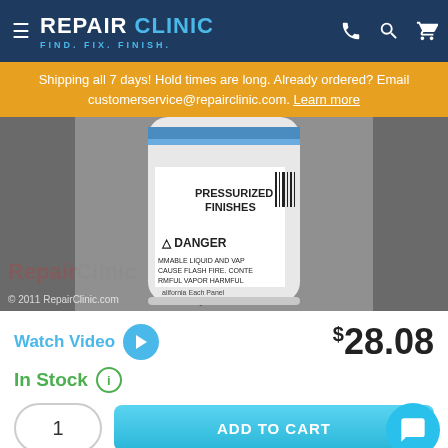REPAIR CLINIC — FIND. FIX. FINISH.
Shipping all 7 days! Hold times are long. Already ordered? Email customerservice@repairclinic.com. Learn more
[Figure (photo): A spray can with label reading PRESSURIZED FINISHES and DANGER — flammable liquid and vapor warning, with RepairClinic watermark overlay. © 2011 RepairClinic.com]
Watch Video
$28.08
In Stock
1
ADD TO CART